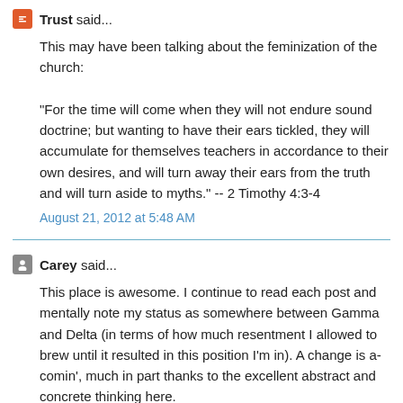Trust said...
This may have been talking about the feminization of the church:

"For the time will come when they will not endure sound doctrine; but wanting to have their ears tickled, they will accumulate for themselves teachers in accordance to their own desires, and will turn away their ears from the truth and will turn aside to myths." -- 2 Timothy 4:3-4
August 21, 2012 at 5:48 AM
Carey said...
This place is awesome. I continue to read each post and mentally note my status as somewhere between Gamma and Delta (in terms of how much resentment I allowed to brew until it resulted in this position I'm in). A change is a-comin', much in part thanks to the excellent abstract and concrete thinking here.
October 30, 2012 at 2:27 PM